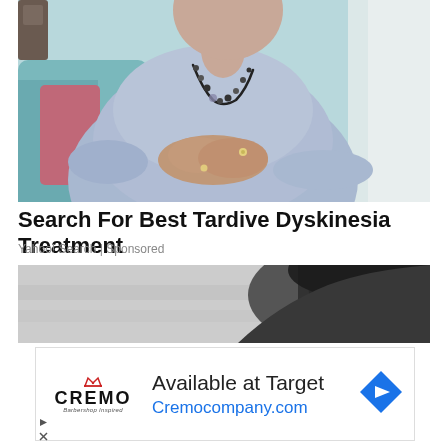[Figure (photo): Elderly woman in blue sweater sitting on a teal couch with hands folded, wearing a beaded necklace]
Search For Best Tardive Dyskinesia Treatment
Yahoo! Search | Sponsored
[Figure (photo): Black and white photo of a person in grey clothing, partially visible]
[Figure (logo): Cremo brand advertisement - Available at Target, Cremocompany.com with navigation arrow icon]